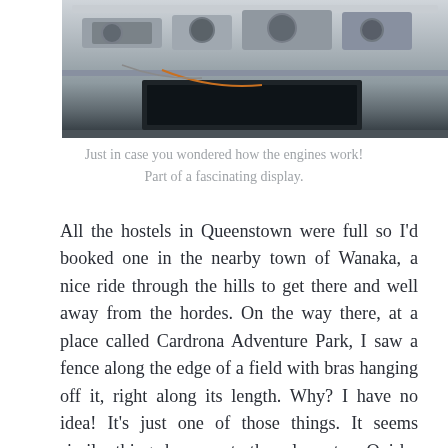[Figure (photo): Close-up photograph of what appears to be engine or mechanical components, partially cropped at the top of the page]
Just in case you wondered how the engines work! Part of a fascinating display.
All the hostels in Queenstown were full so I'd booked one in the nearby town of Wanaka, a nice ride through the hills to get there and well away from the hordes. On the way there, at a place called Cardrona Adventure Park, I saw a fence along the edge of a field with bras hanging off it, right along its length. Why? I have no idea! It's just one of those things. It seems similar things happen at other places too. Quirky Kiwis having fun I suppose